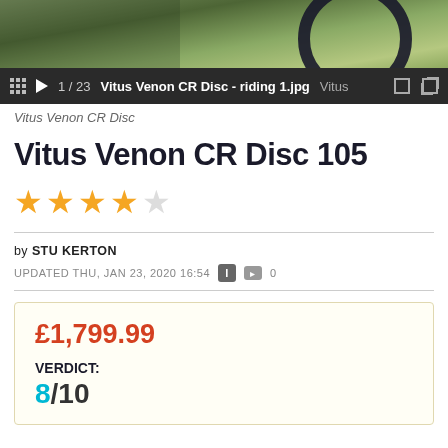[Figure (screenshot): Product image screenshot of Vitus Venon CR Disc bicycle, showing navigation bar with grid icon, play button, 1/23 counter, filename 'Vitus Venon CR Disc - riding 1.jpg', brand 'Vitus', copy and expand icons on dark background. Below is an outdoor riding photo of the bike.]
Vitus Venon CR Disc
Vitus Venon CR Disc 105
★★★★☆ (4 out of 5 stars)
by STU KERTON
UPDATED THU, JAN 23, 2020 16:54   i  ☐ 0
£1,799.99
VERDICT:
8/10